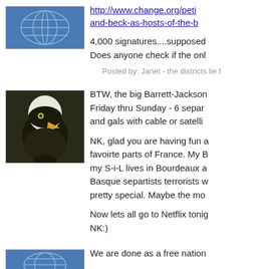[Figure (illustration): Globe/network icon avatar (blue grid pattern)]
4,000 signatures....supposed
Does anyone check if the onl
http://www.change.org/peti
and-beck-as-hosts-of-the-b
Posted by: Janet - the districts lie f
[Figure (photo): Bald eagle portrait photo]
BTW, the big Barrett-Jackson
Friday thru Sunday - 6 separ
and gals with cable or satelli
NK, glad you are having fun a
favoirte parts of France. My B
my S-i-L lives in Bourdeaux a
Basque separtists terrorists w
pretty special. Maybe the mo
Now lets all go to Netflix tonig
NK:)
[Figure (illustration): Globe/network icon avatar (blue grid pattern)]
We are done as a free nation